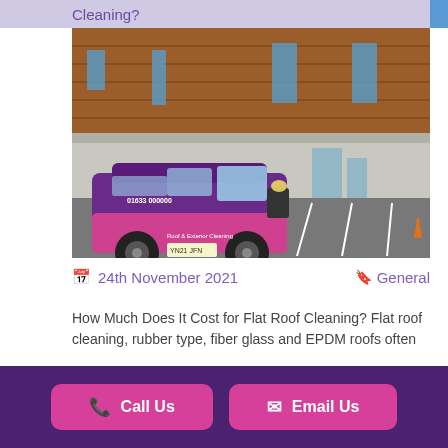Cleaning?
[Figure (photo): A purple and pink branded van parked in front of a modern building with wood cladding and blue sky]
24th November 2021   General
How Much Does It Cost for Flat Roof Cleaning? Flat roof cleaning, rubber type, fiber glass and EPDM roofs often
Read Full Article
Call Us   Email Us